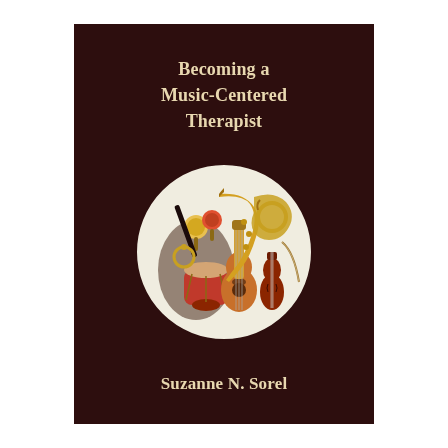Becoming a Music-Centered Therapist
[Figure (illustration): Circular illustration on dark brown background showing a collection of musical instruments including a djembe drum, acoustic guitar, violin, saxophone, French horn, maracas, and other instruments arranged within a white circle.]
Suzanne N. Sorel